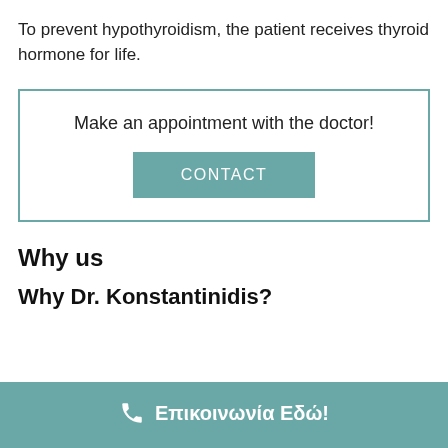To prevent hypothyroidism, the patient receives thyroid hormone for life.
[Figure (infographic): A bordered box with text 'Make an appointment with the doctor!' and a teal CONTACT button]
Why us
Why Dr. Konstantinidis?
Επικοινωνία Εδώ!